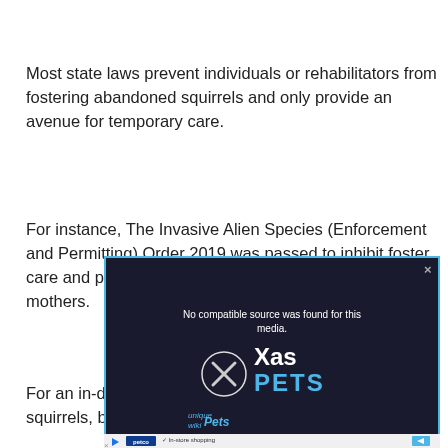Most state laws prevent individuals or rehabilitators from fostering abandoned squirrels and only provide an avenue for temporary care.
For instance, The Invasive Alien Species (Enforcement and Permitting) Order 2019 was passed to inhibit foster care and promote reuniting infant squirrels with their mothers.
For an in-depth insight on how to care for baby squirrels, be sure to check out this article:
[Figure (screenshot): Video player overlay showing 'No compatible source was found for this media.' error message with an X/Pets brand logo on a dark background with a blue border. Contains a close button and a Petco advertisement bar at the bottom.]